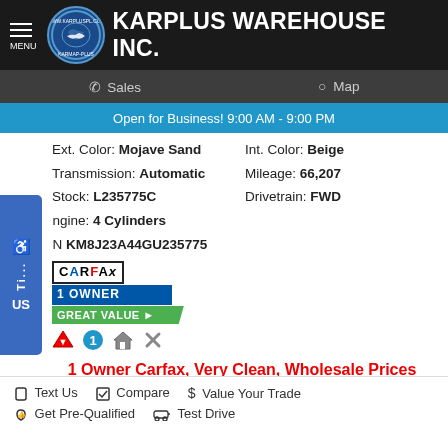KARPLUS WAREHOUSE INC.
Sales   Map
Open for Business! 9:00 AM - 9:00 PM
Ext. Color: Mojave Sand   Int. Color: Beige
Transmission: Automatic   Mileage: 66,207
Stock: L235775C   Drivetrain: FWD
Engine: 4 Cylinders
VIN KM8J23A44GU235775
[Figure (logo): CARFAX 1 Owner Great Value badge]
[Figure (infographic): Four small icons: red funnel/check, blue circle with 1, house icon, wrench/tools icon]
1 Owner Carfax, Very Clean, Wholesale Prices Available to Public now! Lowest Prices in the Market.
Text Us   Compare   Value Your Trade   Get Pre-Qualified   Test Drive